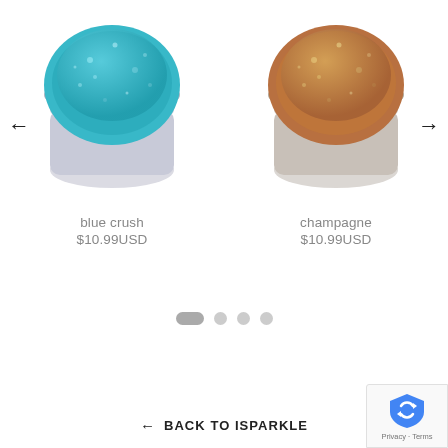[Figure (photo): Two glitter cosmetic jar products side by side: left is a teal/blue glitter jar (blue crush), right is a copper/champagne glitter jar (champagne). Left and right navigation arrows flank the products.]
blue crush
$10.99USD
champagne
$10.99USD
[Figure (infographic): Carousel pagination dots: one active elongated dot followed by three circular dots]
← BACK TO ISPARKLE
[Figure (logo): Google reCAPTCHA badge with shield icon and Privacy - Terms text]